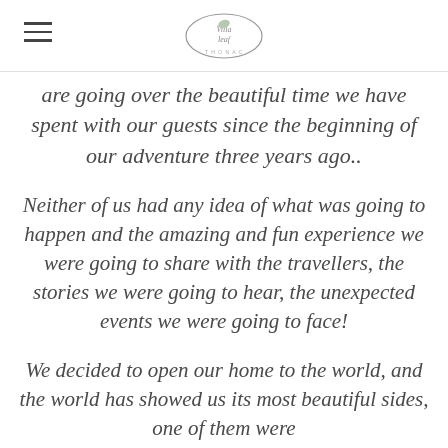Villa Leaf logo and navigation
are going over the beautiful time we have spent with our guests since the beginning of our adventure three years ago..
Neither of us had any idea of what was going to happen and the amazing and fun experience we were going to share with the travellers, the stories we were going to hear, the unexpected events we were going to face!
We decided to open our home to the world, and the world has showed us its most beautiful sides, one of them were